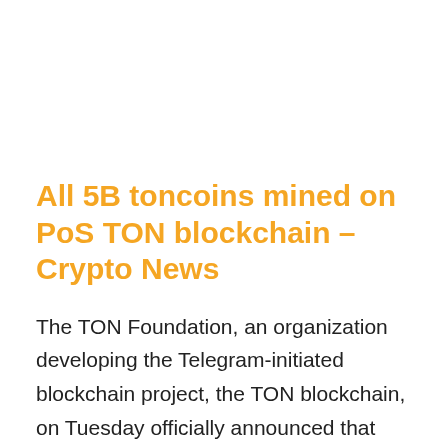All 5B toncoins mined on PoS TON blockchain – Crypto News
The TON Foundation, an organization developing the Telegram-initiated blockchain project, the TON blockchain, on Tuesday officially announced that TON miners have mined the final toncoin."Tens of thousands of miners have mined the entire issuance of